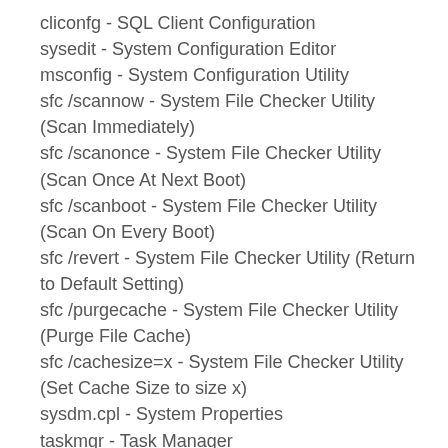cliconfg - SQL Client Configuration
sysedit - System Configuration Editor
msconfig - System Configuration Utility
sfc /scannow - System File Checker Utility (Scan Immediately)
sfc /scanonce - System File Checker Utility (Scan Once At Next Boot)
sfc /scanboot - System File Checker Utility (Scan On Every Boot)
sfc /revert - System File Checker Utility (Return to Default Setting)
sfc /purgecache - System File Checker Utility (Purge File Cache)
sfc /cachesize=x - System File Checker Utility (Set Cache Size to size x)
sysdm.cpl - System Properties
taskmgr - Task Manager
telnet - Telnet Client
tracert - Traceroute to hostname or IP